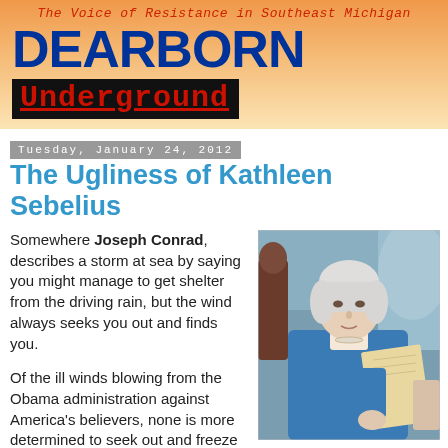The Voice of Resistance in Southeast Michigan
DEARBORN Underground
Tuesday, January 24, 2012
The Ugliness of Kathleen Sebelius
Somewhere Joseph Conrad, describes a storm at sea by saying you might manage to get shelter from the driving rain, but the wind always seeks you out and finds you.
[Figure (photo): Woman in blue jacket holding a document, seated at a table]
Of the ill winds blowing from the Obama administration against America's believers, none is more determined to seek out and freeze religious liberties than